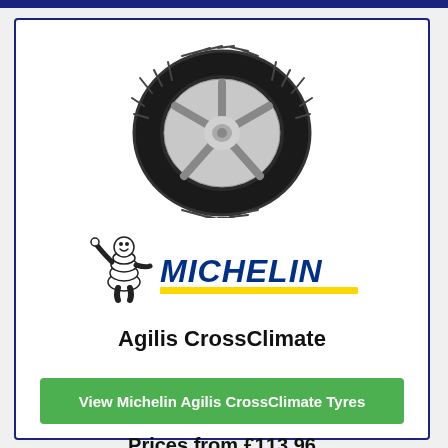[Figure (illustration): Michelin Agilis CrossClimate tyre product image - black tyre with silver alloy wheel center, cross-climate tread pattern, viewed at slight angle]
[Figure (logo): Michelin logo with Bibendum mascot figure on left waving, bold blue MICHELIN text, yellow underline bar]
Agilis CrossClimate
View Michelin Agilis CrossClimate Tyres
Prices from £113.96